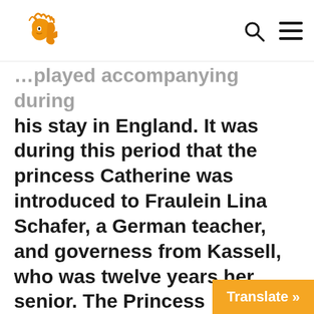[Logo] [Search icon] [Menu icon]
...played accompanying during his stay in England. It was during this period that the princess Catherine was introduced to Fraulein Lina Schafer, a German teacher, and governess from Kassell, who was twelve years her senior. The Princess developed a deep and intimate bond with Schäfer that lasted until the death of Lina Schafer in 1937. She lived with her in Germany from 1904- 1937, almost 33 years.
Translate »